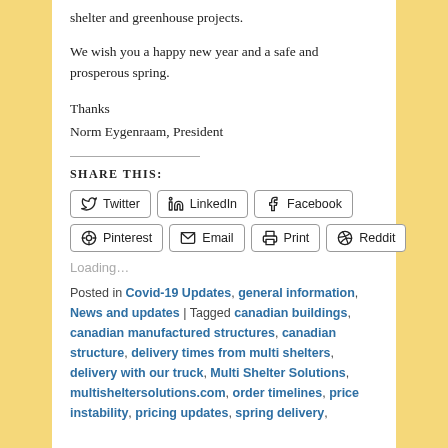shelter and greenhouse projects.
We wish you a happy new year and a safe and prosperous spring.
Thanks
Norm Eygenraam, President
SHARE THIS:
Twitter  LinkedIn  Facebook  Pinterest  Email  Print  Reddit
Loading...
Posted in Covid-19 Updates, general information, News and updates | Tagged canadian buildings, canadian manufactured structures, canadian structure, delivery times from multi shelters, delivery with our truck, Multi Shelter Solutions, multisheltersolutions.com, order timelines, price instability, pricing updates, spring delivery,